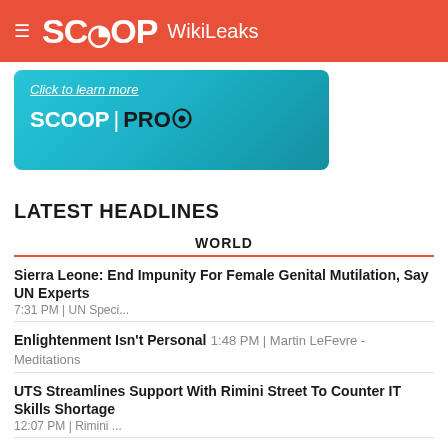SCOOP WikiLeaks
[Figure (other): Scoop Pro advertisement banner with 'Click to learn more' link and SCOOP PRO logo on teal/cyan gradient background]
LATEST HEADLINES
WORLD
Sierra Leone: End Impunity For Female Genital Mutilation, Say UN Experts 7:31 PM | UN Speci...
Enlightenment Isn't Personal 1:48 PM | Martin LeFevre - Meditations
UTS Streamlines Support With Rimini Street To Counter IT Skills Shortage 12:07 PM | Rimini ...
Five Years After Rohingya Exodus, Two Thirds Of Children In Refugee Camps Do Not... 11:05 AM
WHO Supports DR Congo Authorities As Ebola Resurges In Volatile East 6:25 AM | UN News